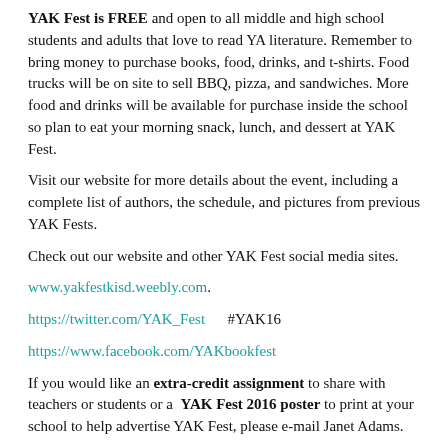YAK Fest is FREE and open to all middle and high school students and adults that love to read YA literature. Remember to bring money to purchase books, food, drinks, and t-shirts. Food trucks will be on site to sell BBQ, pizza, and sandwiches. More food and drinks will be available for purchase inside the school so plan to eat your morning snack, lunch, and dessert at YAK Fest.
Visit our website for more details about the event, including a complete list of authors, the schedule, and pictures from previous YAK Fests.
Check out our website and other YAK Fest social media sites.
www.yakfestkisd.weebly.com.
https://twitter.com/YAK_Fest      #YAK16
https://www.facebook.com/YAKbookfest
If you would like an extra-credit assignment to share with teachers or students or a  YAK Fest 2016 poster to print at your school to help advertise YAK Fest, please e-mail Janet Adams.